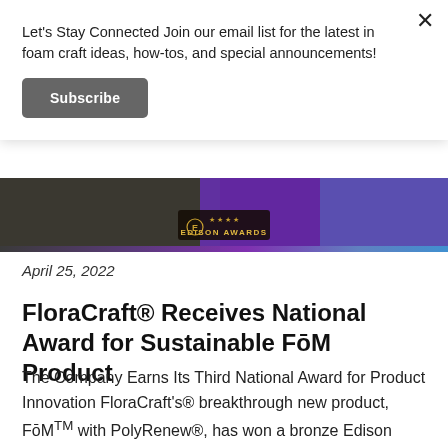Let's Stay Connected Join our email list for the latest in foam craft ideas, how-tos, and special announcements!
Subscribe
[Figure (photo): Photo showing Edison Awards banner with purple and blue decorative mesh/netting background. An Edison Awards logo badge is visible in the center-left area.]
April 25, 2022
FloraCraft® Receives National Award for Sustainable FōM Product
The Company Earns Its Third National Award for Product Innovation FloraCraft's® breakthrough new product, FōMTM with PolyRenew®, has won a bronze Edison AwardTM for an innovative product related to manufacturing. Winning projects represent “game-changing” new products and services, marketing...